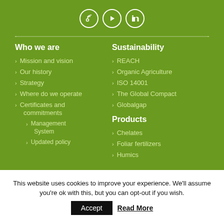[Figure (other): Social media icons: RSS feed, play/video, LinkedIn — white circle outlines on green background]
Who we are
Mission and vision
Our history
Strategy
Where do we operate
Certificates and commitments
Management System
Updated policy
Sustainability
REACH
Organic Agriculture
ISO 14001
The Global Compact
Globalgap
Products
Chelates
Foliar fertilizers
Humics
This website uses cookies to improve your experience. We'll assume you're ok with this, but you can opt-out if you wish.
Accept
Read More